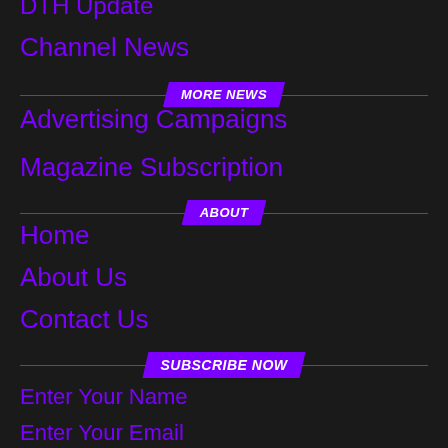DTH Update
Channel News
MORE NEWS
Advertising Campaigns
Magazine Subscription
ABOUT
Home
About Us
Contact Us
SUBSCRIBE NOW
Enter Your Name
Enter Your Email